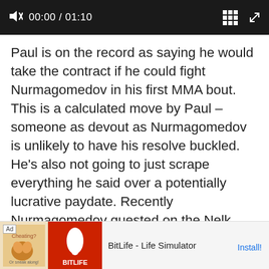[Figure (screenshot): Video player control bar showing muted speaker icon, timestamp 00:00 / 01:10, grid icon, and expand icon on dark background]
Paul is on the record as saying he would take the contract if he could fight Nurmagomedov in his first MMA bout. This is a calculated move by Paul – someone as devout as Nurmagomedov is unlikely to have his resolve buckled. He's also not going to just scrape everything he said over a potentially lucrative paydate. Recently Nurmagomedov guested on the Nelk boys Full Send podcast and shared his honest opinion on Paul's skills.
[Figure (screenshot): Advertisement banner for BitLife - Life Simulator app with Ad badge, game artwork on left, BitLife logo on red background, app name and Install button]